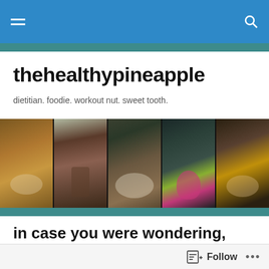thehealthypineapple
dietitian. foodie. workout nut. sweet tooth.
[Figure (photo): A horizontal strip of five food photography panels showing various healthy bowls and smoothies, including oatmeal, chocolate mousse, granola with berries, a pink smoothie in a green cup, and a granola bowl.]
in case you were wondering, i'm still alive...
…but just barely!
Follow ...